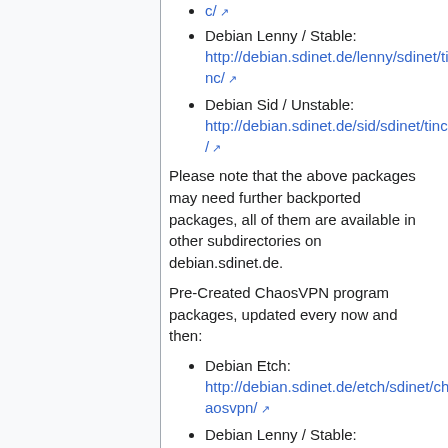c/ [external link]
Debian Lenny / Stable: http://debian.sdinet.de/lenny/sdinet/tinc/ [external link]
Debian Sid / Unstable: http://debian.sdinet.de/sid/sdinet/tinc/ [external link]
Please note that the above packages may need further backported packages, all of them are available in other subdirectories on debian.sdinet.de.
Pre-Created ChaosVPN program packages, updated every now and then:
Debian Etch: http://debian.sdinet.de/etch/sdinet/chaosvpn/ [external link]
Debian Lenny / Stable: http://debian.sdinet.de/lenny/sdinet/chaosvpn/ [external link]